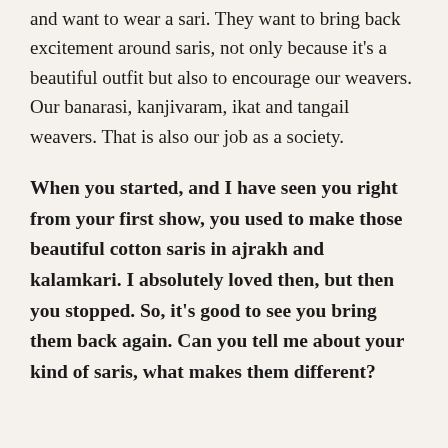and want to wear a sari. They want to bring back excitement around saris, not only because it's a beautiful outfit but also to encourage our weavers. Our banarasi, kanjivaram, ikat and tangail weavers. That is also our job as a society.
When you started, and I have seen you right from your first show, you used to make those beautiful cotton saris in ajrakh and kalamkari. I absolutely loved then, but then you stopped. So, it's good to see you bring them back again. Can you tell me about your kind of saris, what makes them different?